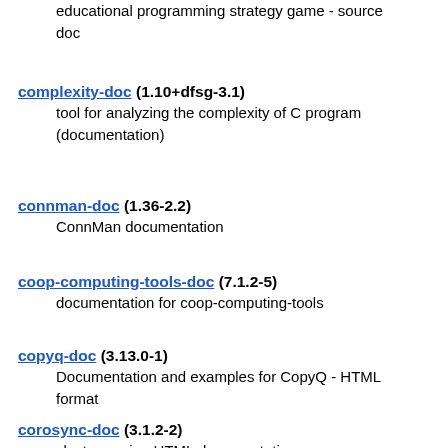educational programming strategy game - source doc
complexity-doc (1.10+dfsg-3.1)
tool for analyzing the complexity of C program (documentation)
connman-doc (1.36-2.2)
ConnMan documentation
coop-computing-tools-doc (7.1.2-5)
documentation for coop-computing-tools
copyq-doc (3.13.0-1)
Documentation and examples for CopyQ - HTML format
corosync-doc (3.1.2-2)
cluster engine HTML documentation